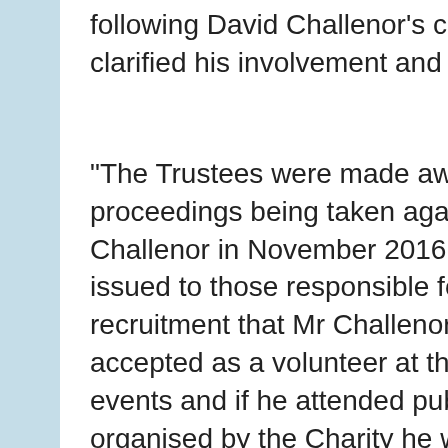following David Challenor's conviction clarified his involvement and states:
"The Trustees were made aware of criminal proceedings being taken against Mr Challenor in November 2016. A directive was issued to those responsible for volunteer recruitment that Mr Challenor was not to be accepted as a volunteer at the Charity's events and if he attended public events organised by the Charity he was monitored by the trustees."
As a trustee of Coventry Pride in both 2016 and 2017, Aimee Challenor was therefore party to knowledge of the offences David Challenor had been charged with, seemingly in conflict with the